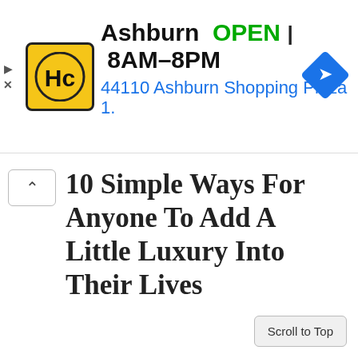[Figure (screenshot): Advertisement banner for a Hardware store in Ashburn showing HC logo, OPEN status, hours 8AM-8PM, address 44110 Ashburn Shopping Plaza 1., and a blue navigation diamond icon.]
10 Simple Ways For Anyone To Add A Little Luxury Into Their Lives
Scroll to Top